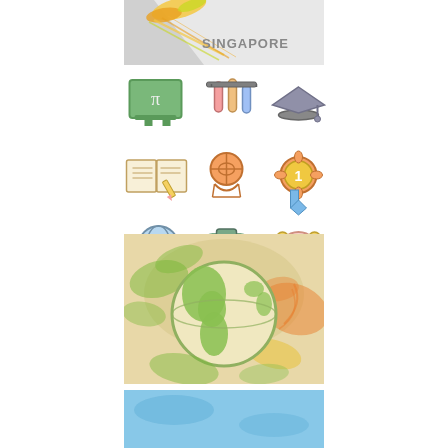[Figure (illustration): Decorative banner with colorful paint splashes and the text SINGAPORE on a grey background]
[Figure (illustration): 3x3 grid of education icons: chalkboard with pi, test tubes, graduation cap, open book with pencil, basketball hoop, award medal #1, globe on stand, school backpack, alarm clock]
[Figure (illustration): Decorative illustration of Earth globe with colorful green, orange and yellow paint splashes on beige background]
[Figure (illustration): Partial blue decorative banner at bottom]